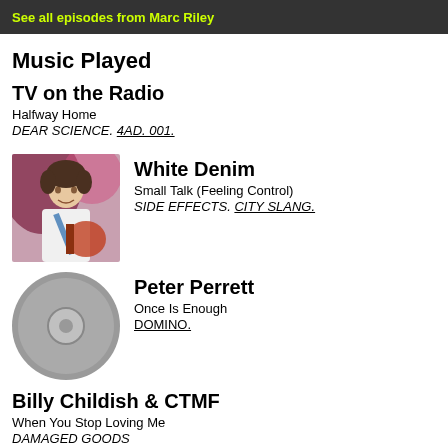See all episodes from Marc Riley
Music Played
TV on the Radio
Halfway Home
DEAR SCIENCE. 4AD. 001.
[Figure (photo): Photo of White Denim musician playing guitar]
White Denim
Small Talk (Feeling Control)
SIDE EFFECTS. CITY SLANG.
[Figure (other): CD placeholder icon for Peter Perrett]
Peter Perrett
Once Is Enough
DOMINO.
Billy Childish & CTMF
When You Stop Loving Me
DAMAGED GOODS